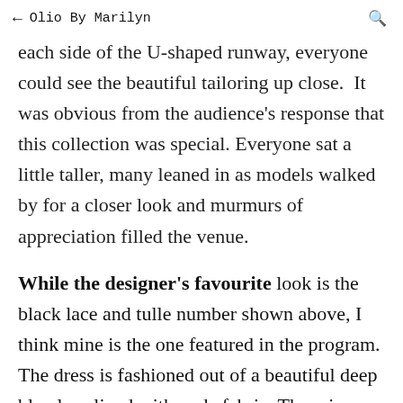← Olio By Marilyn 🔍
each side of the U-shaped runway, everyone could see the beautiful tailoring up close. It was obvious from the audience's response that this collection was special. Everyone sat a little taller, many leaned in as models walked by for a closer look and murmurs of appreciation filled the venue.
While the designer's favourite look is the black lace and tulle number shown above, I think mine is the one featured in the program. The dress is fashioned out of a beautiful deep blue lace lined with nude fabric. There is a high slit detail offering red carpet sex appeal. Lastly, the faux fur